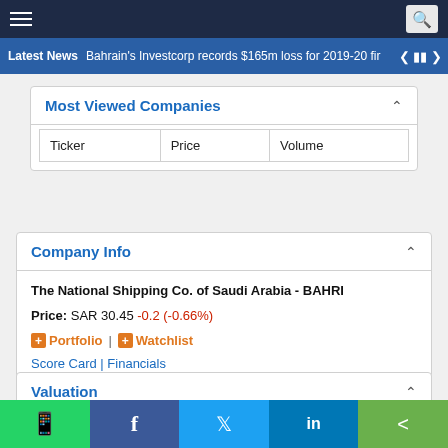Navigation bar with hamburger menu and search icon
Latest News  Bahrain's Investcorp records $165m loss for 2019-20 fir
Most Viewed Companies
| Ticker | Price | Volume |
| --- | --- | --- |
Company Info
The National Shipping Co. of Saudi Arabia - BAHRI
Price: SAR 30.45 -0.2 (-0.66%)
+ Portfolio | + Watchlist
Score Card | Financials
Valuation
|  | BAHRI | Sector | Market |
| --- | --- | --- | --- |
Social share bar: WhatsApp, Facebook, Twitter, LinkedIn, Share